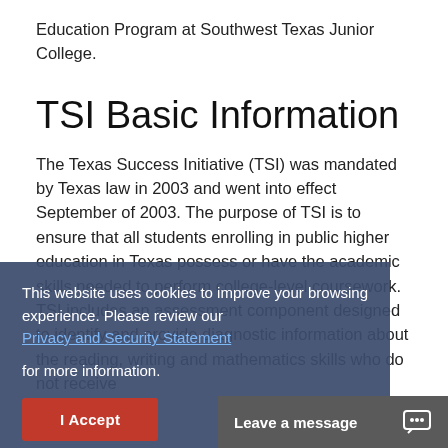Education Program at Southwest Texas Junior College.
TSI Basic Information
The Texas Success Initiative (TSI) was mandated by Texas law in 2003 and went into effect September of 2003. The purpose of TSI is to ensure that all students enrolling in public higher education in Texas possess or have the academic skills needed to perform college-level coursework. TSI includes an assessment component designed to identify and provide diagnostic information about the reading, writing and mathematics skills who do not receive
This website uses cookies to improve your browsing experience. Please review our Privacy and Security Statement for more information.
I Accept
Leave a message